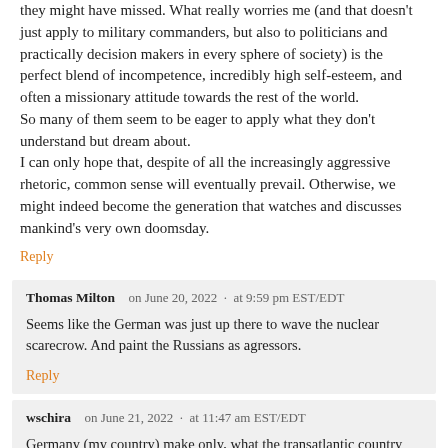they might have missed. What really worries me (and that doesn't just apply to military commanders, but also to politicians and practically decision makers in every sphere of society) is the perfect blend of incompetence, incredibly high self-esteem, and often a missionary attitude towards the rest of the world.
So many of them seem to be eager to apply what they don't understand but dream about.
I can only hope that, despite of all the increasingly aggressive rhetoric, common sense will eventually prevail. Otherwise, we might indeed become the generation that watches and discusses mankind's very own doomsday.
Reply
Thomas Milton   on June 20, 2022  ·  at 9:59 pm EST/EDT
Seems like the German was just up there to wave the nuclear scarecrow. And paint the Russians as agressors.
Reply
wschira   on June 21, 2022  ·  at 11:47 am EST/EDT
Germany (my country) make only, what the transatlantic country